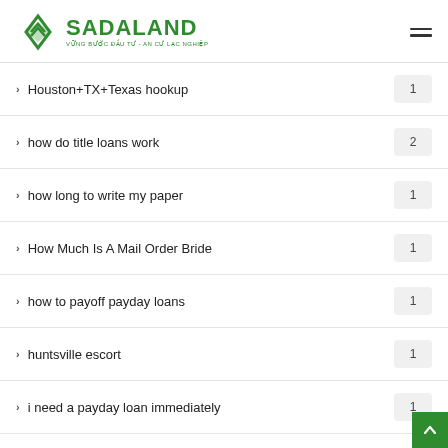SADALAND - VỮNG BƯỚC ĐẦU TƯ - AN CƯ LẠC NGHIỆP
Houston+TX+Texas hookup
how do title loans work
how long to write my paper
How Much Is A Mail Order Bride
how to payoff payday loans
huntsville escort
i need a payday loan immediately